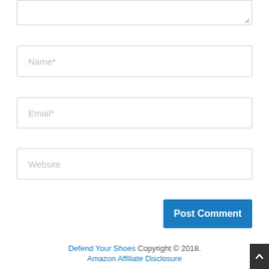[Figure (screenshot): Partial textarea input box at top of page with resize handle at bottom-right corner]
Name*
Email*
Website
Post Comment
Defend Your Shoes Copyright © 2018. Amazon Affiliate Disclosure